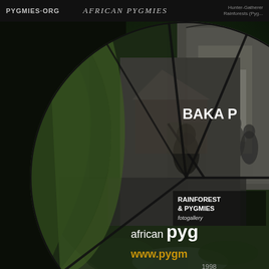PYGMIES.ORG   AFRICAN PYGMIES   Hunter-Gatherer Rainforests (Pyg...
[Figure (infographic): Globe-shaped collage of African Pygmy photographs including a person paddling a canoe, children in the forest, and rainforest scenes. Overlaid with labels: BAKA P, RAINFOREST & PYGMIES fotogallery, african pygm..., www.pygm..., 1998]